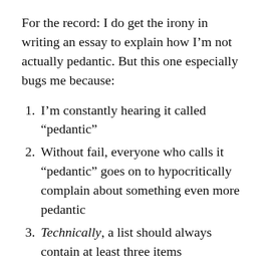For the record: I do get the irony in writing an essay to explain how I’m not actually pedantic. But this one especially bugs me because:
I’m constantly hearing it called “pedantic”
Without fail, everyone who calls it “pedantic” goes on to hypocritically complain about something even more pedantic
Technically, a list should always contain at least three items
I’ve heard the complaint from no fewer than a dozen people over the years, and from no less than Stephen Fry himself. Scott claims that it’s a prescriptive distinction; it’s an assertion of